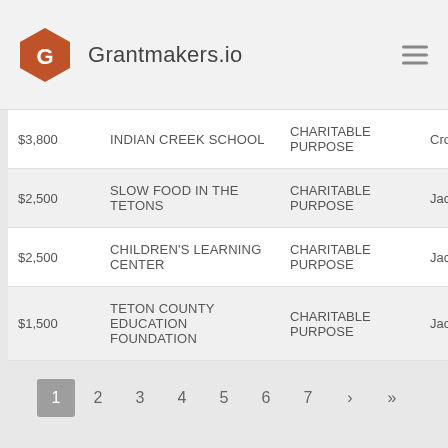Grantmakers.io
| Amount | Organization | Purpose | Location |
| --- | --- | --- | --- |
| $3,800 | INDIAN CREEK SCHOOL | CHARITABLE PURPOSE | Crownsvil |
| $2,500 | SLOW FOOD IN THE TETONS | CHARITABLE PURPOSE | Jackson, |
| $2,500 | CHILDREN'S LEARNING CENTER | CHARITABLE PURPOSE | Jackson, |
| $1,500 | TETON COUNTY EDUCATION FOUNDATION | CHARITABLE PURPOSE | Jackson, |
1 2 3 4 5 6 7 › »